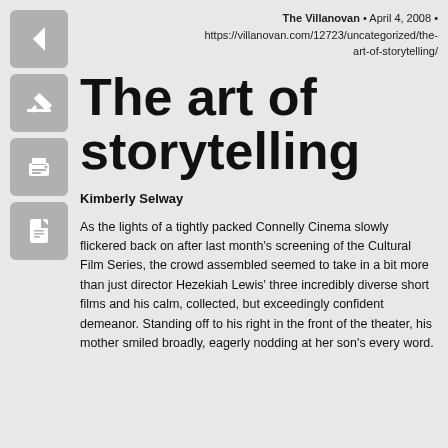The Villanovan • April 4, 2008 • https://villanovan.com/12723/uncategorized/the-art-of-storytelling/
The art of storytelling
Kimberly Selway
As the lights of a tightly packed Connelly Cinema slowly flickered back on after last month's screening of the Cultural Film Series, the crowd assembled seemed to take in a bit more than just director Hezekiah Lewis' three incredibly diverse short films and his calm, collected, but exceedingly confident demeanor. Standing off to his right in the front of the theater, his mother smiled broadly, eagerly nodding at her son's every word.